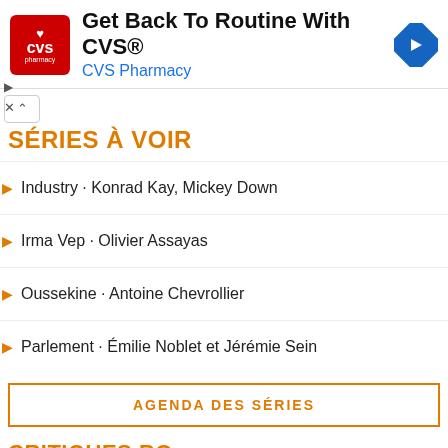[Figure (infographic): CVS Pharmacy advertisement banner with red logo, text 'Get Back To Routine With CVS®' and 'CVS Pharmacy', and a blue diamond navigation arrow icon]
SÉRIES À VOIR
Industry · Konrad Kay, Mickey Down
Irma Vep · Olivier Assayas
Oussekine · Antoine Chevrollier
Parlement · Émilie Noblet et Jérémie Sein
AGENDA DES SÉRIES
CRITIQUES BO
ENNIO
HANS ZIMMER
MOURIR PEUT ATTENDRE